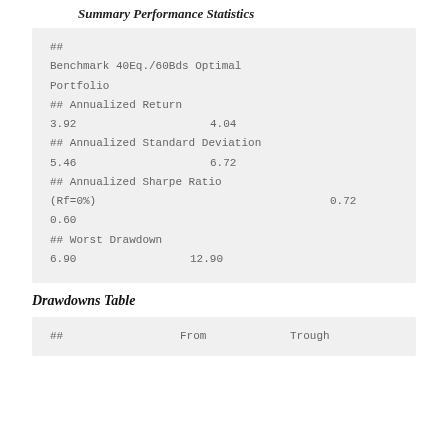Summary Performance Statistics
| ## | Benchmark 40Eq./60Bds | Optimal Portfolio |
| --- | --- | --- |
| ## Annualized Return |  |  |
| 3.92 | 4.04 |  |
| ## Annualized Standard Deviation |  |  |
| 5.46 | 6.72 |  |
| ## Annualized Sharpe Ratio (Rf=0%) |  |  |
| 0.60 | 0.72 |  |
| ## Worst Drawdown |  |  |
| 6.90 | 12.90 |  |
Drawdowns Table
| ## | From | Trough |
| --- | --- | --- |